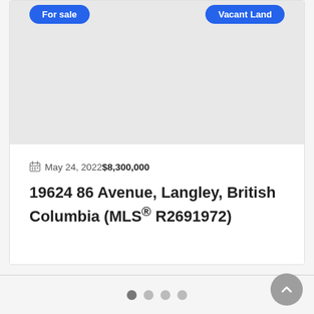[Figure (photo): Property listing card image area — grey placeholder for property photo with 'For sale' and 'Vacant Land' badge buttons visible at top]
May 24, 2022$8,300,000
19624 86 Avenue, Langley, British Columbia (MLS® R2691972)